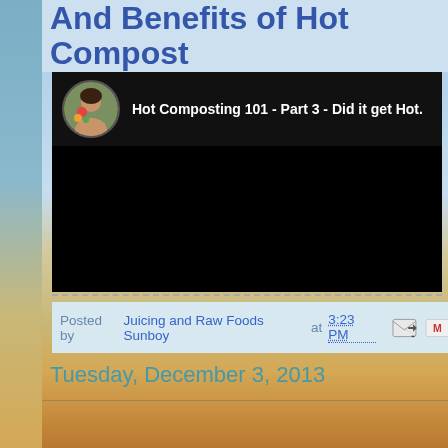And Benefits of Hot Compost
[Figure (screenshot): Embedded YouTube video player showing 'Hot Composting 101 - Part 3 - Did it get Hot.' with circular avatar of a woman holding vegetables and a black video frame below]
Posted by Juicing and Raw Foods Sunboy at 3:23 PM
Tuesday, December 3, 2013